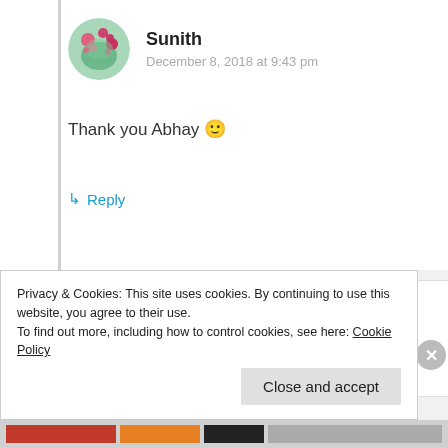[Figure (photo): Circular avatar photo of Sunith showing pink flowers and nature]
Sunith
December 8, 2018 at 9:43 pm
Thank you Abhay 🙂
↳ Reply
[Figure (illustration): Avatar illustration of rita saxena showing a blonde woman]
rita saxena
December 9, 2018 at 8:19 am
Privacy & Cookies: This site uses cookies. By continuing to use this website, you agree to their use.
To find out more, including how to control cookies, see here: Cookie Policy
Close and accept